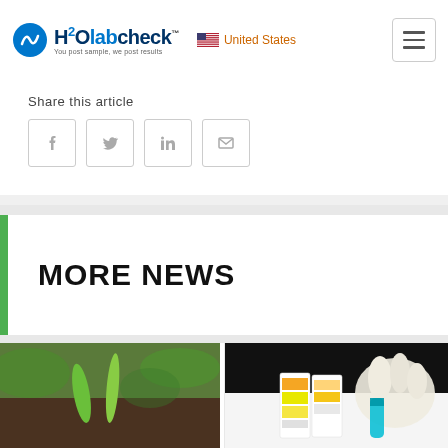H2Olabcheck™ — United States
Share this article
[Figure (other): Social share icons: Facebook, Twitter, LinkedIn, Email]
MORE NEWS
[Figure (photo): Two green plant seedlings sprouting from dark soil with blurred green background]
[Figure (photo): Gloved hand holding a blue test tube next to colorful pH test strips on black background]